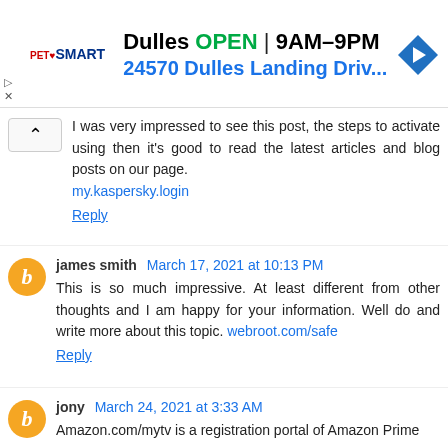[Figure (infographic): PetSmart advertisement banner: 'Dulles OPEN 9AM-9PM, 24570 Dulles Landing Driv...' with PetSmart logo and blue arrow icon]
I was very impressed to see this post, the steps to activate using then it's good to read the latest articles and blog posts on our page. my.kaspersky.login
Reply
james smith March 17, 2021 at 10:13 PM
This is so much impressive. At least different from other thoughts and I am happy for your information. Well do and write more about this topic. webroot.com/safe
Reply
jony March 24, 2021 at 3:33 AM
Amazon.com/mytv is a registration portal of Amazon Prime...